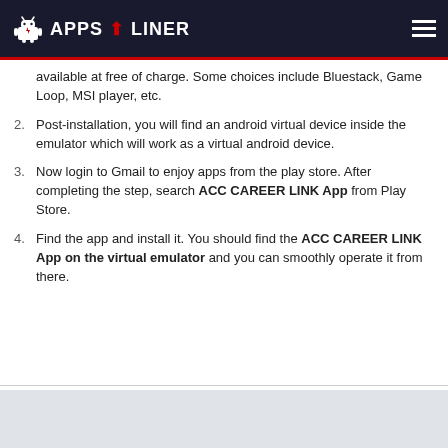APPS LINER
available at free of charge. Some choices include Bluestack, Game Loop, MSI player, etc.
2. Post-installation, you will find an android virtual device inside the emulator which will work as a virtual android device.
3. Now login to Gmail to enjoy apps from the play store. After completing the step, search ACC CAREER LINK App from Play Store.
4. Find the app and install it. You should find the ACC CAREER LINK App on the virtual emulator and you can smoothly operate it from there.